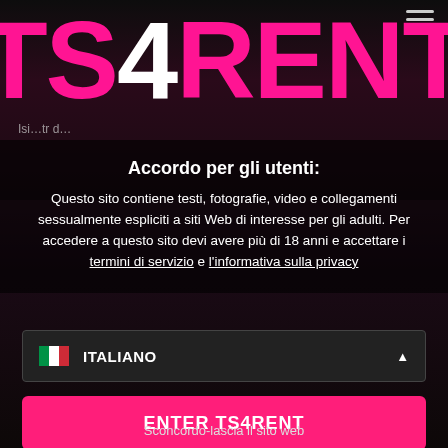TS4RENT
Accordo per gli utenti:
Questo sito contiene testi, fotografie, video e collegamenti sessualmente espliciti a siti Web di interesse per gli adulti. Per accedere a questo sito devi avere più di 18 anni e accettare i termini di servizio e l'informativa sulla privacy
ITALIANO
ENTER TS4RENT
Sconcordo-lascia il sito web